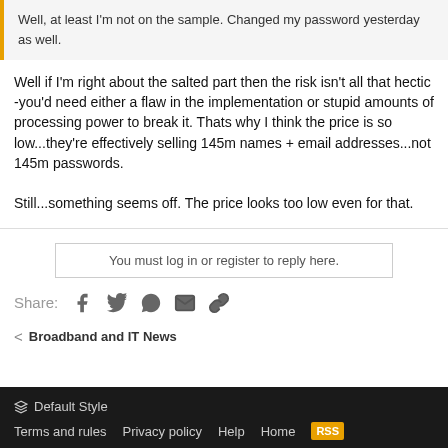Well, at least I'm not on the sample. Changed my password yesterday as well.
Well if I'm right about the salted part then the risk isn't all that hectic -you'd need either a flaw in the implementation or stupid amounts of processing power to break it. Thats why I think the price is so low...they're effectively selling 145m names + email addresses...not 145m passwords.

Still...something seems off. The price looks too low even for that.
You must log in or register to reply here.
Share:
Broadband and IT News
Default Style
Terms and rules  Privacy policy  Help  Home